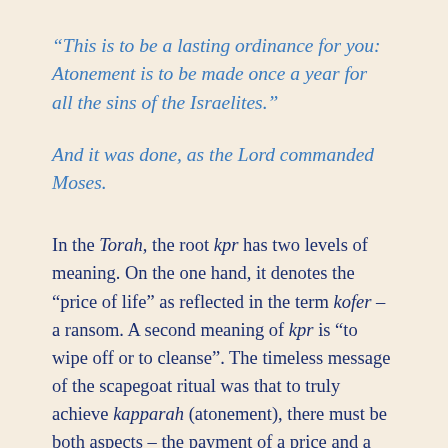“This is to be a lasting ordinance for you: Atonement is to be made once a year for all the sins of the Israelites.”
And it was done, as the Lord commanded Moses.
In the Torah, the root kpr has two levels of meaning. On the one hand, it denotes the “price of life” as reflected in the term kofer – a ransom. A second meaning of kpr is “to wipe off or to cleanse”. The timeless message of the scapegoat ritual was that to truly achieve kapparah (atonement), there must be both aspects – the payment of a price and a